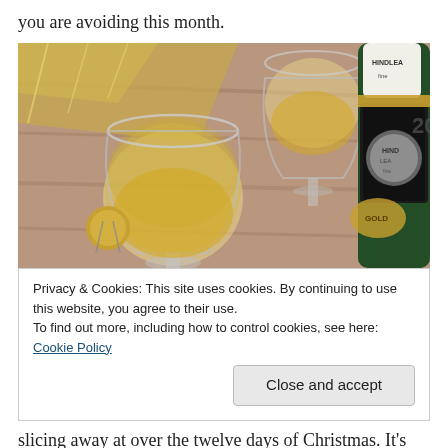you are avoiding this month.
[Figure (photo): Photo of champagne glasses filled with white wine/champagne and green champagne bottles on a wooden surface with gold decorations.]
Privacy & Cookies: This site uses cookies. By continuing to use this website, you agree to their use.
To find out more, including how to control cookies, see here: Cookie Policy
Close and accept
slicing away at over the twelve days of Christmas. It's